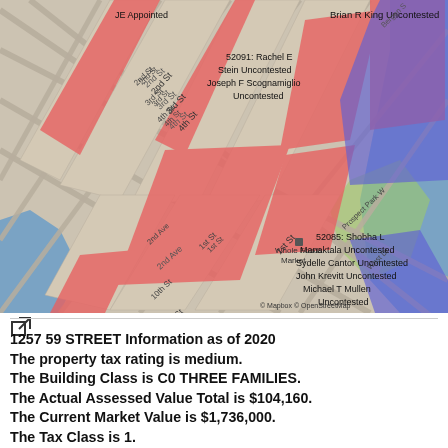[Figure (map): Street map of Brooklyn neighborhood showing election district boundaries colored in red (contested) and blue (uncontested). Labels include candidate names and district numbers such as 52091: Rachel E Stein Uncontested, Joseph F Scognamiglio Uncontested, 52026: Sarah J Avery Uncontested, Thomas Callan Uncontested, 52085: Shobha L Manaktala Uncontested, Sydelle Cantor Uncontested, John Krevitt Uncontested, Michael T Mullen Uncontested, 44073: Renee V Cafiero Uncontested, Cheryl L Krauss Uncontested, Brian R King Uncontested, and partial labels for other districts. Streets visible include 2nd St, 3rd St, 4th St, 1st St, 10th St, 12th St, 14th St, President St, 2nd Ave, Prospect Park W, West Dr. Whole Foods Market labeled. Mapbox and OpenStreetMap attribution.]
1257 59 STREET Information as of 2020
The property tax rating is medium.
The Building Class is C0 THREE FAMILIES.
The Actual Assessed Value Total is $104,160.
The Current Market Value is $1,736,000.
The Tax Class is 1.
The Current Taxable Total Assessed Value is $55,700.